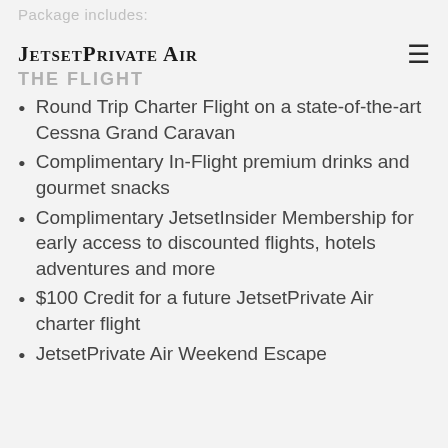Package includes:
JetsetPrivate Air
THE FLIGHT
Round Trip Charter Flight on a state-of-the-art Cessna Grand Caravan
Complimentary In-Flight premium drinks and gourmet snacks
Complimentary JetsetInsider Membership for early access to discounted flights, hotels adventures and more
$100 Credit for a future JetsetPrivate Air charter flight
JetsetPrivate Air Weekend Escape